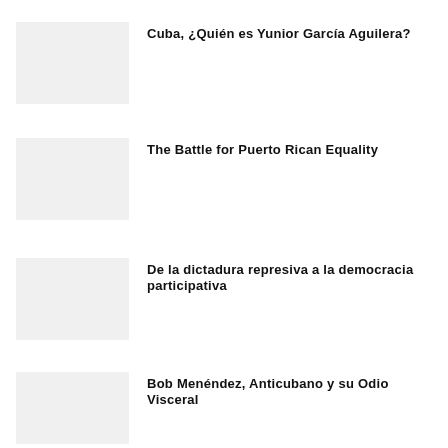[Figure (photo): Thumbnail image placeholder 1]
Cuba, ¿Quién es Yunior García Aguilera?
[Figure (photo): Thumbnail image placeholder 2]
The Battle for Puerto Rican Equality
[Figure (photo): Thumbnail image placeholder 3]
De la dictadura represiva a la democracia participativa
[Figure (photo): Thumbnail image placeholder 4]
Bob Menéndez, Anticubano y su Odio Visceral